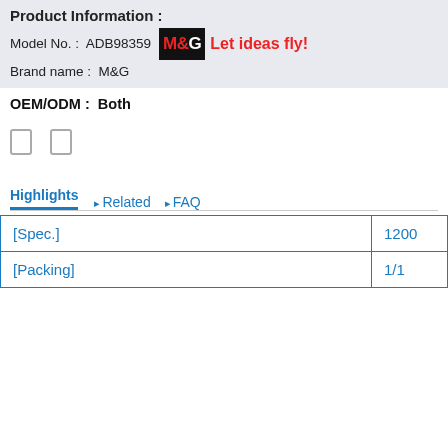Product Information :
Model No. :  ADB98359   M&G  Let ideas fly!
Brand name :  M&G
OEM/ODM :  Both
[icon boxes]
Highlights   Related   FAQ
|  |  |
| --- | --- |
| [Spec.] | 1200 |
| [Packing] | 1/1 |